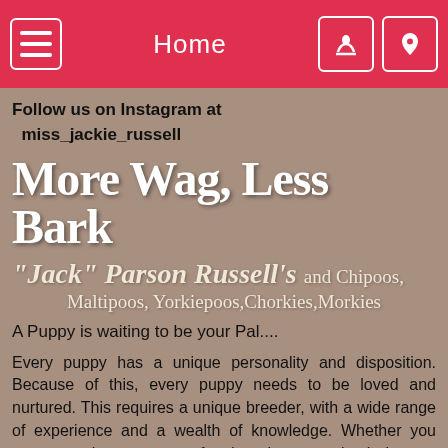Home
Follow us on Instagram at
  miss_jackie_russell
More Wag, Less Bark
"Jack" Parson Russell's and Chipoos, Maltipoos, Yorkiepoos, Chorkies, Morkies
A Puppy is waiting to be your Pal....
Every puppy has a unique personality and disposition. Because of this, every puppy needs to be loved and nurtured. This requires a unique breeder, with a wide range of experience and a wealth of knowledge. Whether you want to train your puppy for dog shows or simply have a loyal companion, you need expert guidance to effectively adopt the right puppy for you. If you want a loving, sociable, pre